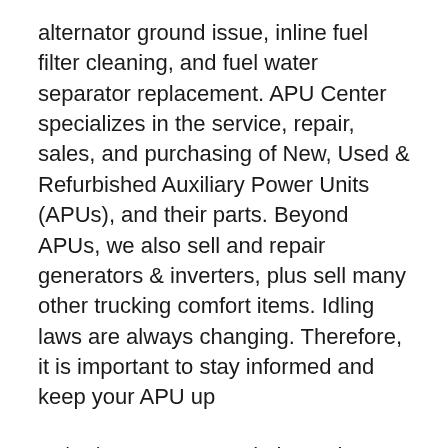alternator ground issue, inline fuel filter cleaning, and fuel water separator replacement. APU Center specializes in the service, repair, sales, and purchasing of New, Used & Refurbished Auxiliary Power Units (APUs), and their parts. Beyond APUs, we also sell and repair generators & inverters, plus sell many other trucking comfort items. Idling laws are always changing. Therefore, it is important to stay informed and keep your APU up
24/11/2017В В· Description: Tripac E Apu Animation вЂ" Youtube with regard to Thermo King Tripac Wiring Diagram, image size 480 X 360 px, and to view image details please click the image.. Honestly, we have been remarked that thermo king tripac wiring diagram is being